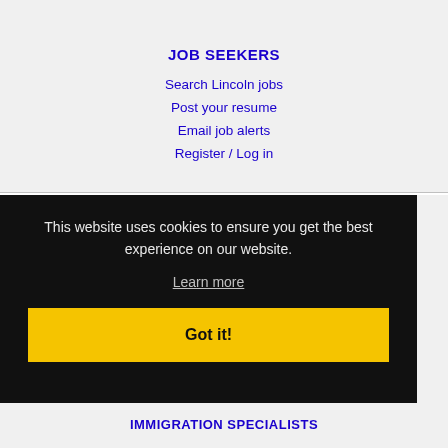JOB SEEKERS
Search Lincoln jobs
Post your resume
Email job alerts
Register / Log in
This website uses cookies to ensure you get the best experience on our website.
Learn more
Got it!
IMMIGRATION SPECIALISTS